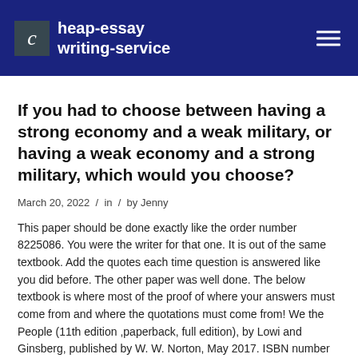cheap-essay writing-service
If you had to choose between having a strong economy and a weak military, or having a weak economy and a strong military, which would you choose?
March 20, 2022  /  in  /  by Jenny
This paper should be done exactly like the order number 8225086. You were the writer for that one. It is out of the same textbook. Add the quotes each time question is answered like you did before. The other paper was well done. The below textbook is where most of the proof of where your answers must come from and where the quotations must come from! We the People (11th edition ,paperback, full edition), by Lowi and Ginsberg, published by W. W. Norton, May 2017. ISBN number is: 978-0-393-62959-2. Use the